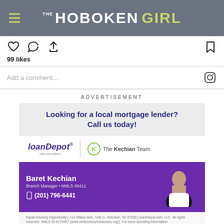THE HOBOKEN GIRL
[Figure (screenshot): Instagram interaction icons: heart, comment, share, bookmark. Shows 99 likes and Add a comment field with Instagram logo.]
99 likes
Add a comment...
ADVERTISEMENT
[Figure (infographic): loanDepot advertisement featuring The Kechian Team. Text: Looking for a local mortgage lender? Call us today! loanDepot logo, The Kechian Team logo. Baret Kechian, Branch Manager • NMLS #9411, (201) 796-6441. Equal Housing Opportunity | 114 Willow Ave., Unit G, Hoboken, NJ 07030 | loanDepot.com, LLC. All rights reserved. NMLS ID #174457 (www.nmlsconsumeraccess.org/). For more licensing information]